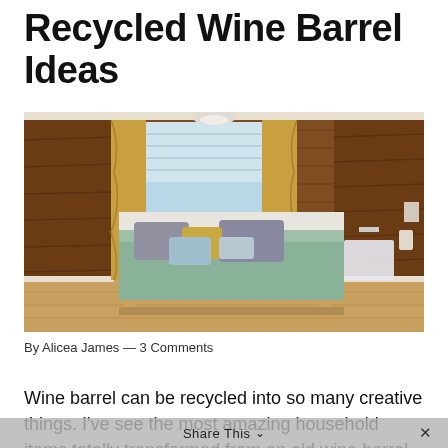Recycled Wine Barrel Ideas
[Figure (photo): Bedroom interior with wood-paneled walls, a large bed with sage green bedspread and multiple pillows, golden curtains framing a window, and light hardwood flooring.]
By Alicea James — 3 Comments
Wine barrel can be recycled into so many creative things. I've see the most amazing household items totally transformed from an old wine barrel. Check
Share This